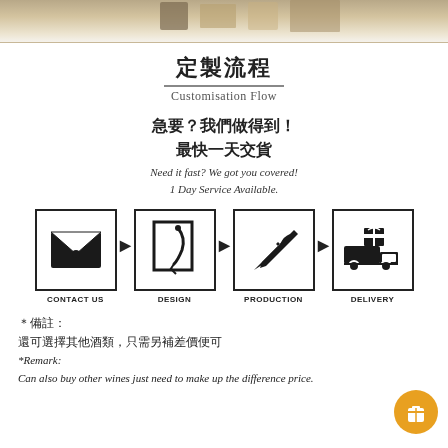[Figure (illustration): Top portion showing wooden shelf/boxes in warm brown tones]
定製流程
Customisation Flow
急要？我們做得到！
最快一天交貨
Need it fast? We got you covered!
1 Day Service Available.
[Figure (flowchart): Four-step customisation flow: CONTACT US (envelope icon) → DESIGN (pen/design icon) → PRODUCTION (tools icon) → DELIVERY (truck with gift icon)]
＊備註：
還可選擇其他酒類，只需另補差價便可
*Remark:
Can also buy other wines just need to make up the difference price.